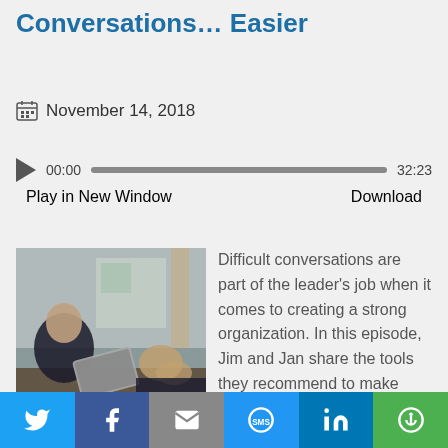FLP 12 n: How to Make Difficult Conversations… Easier
November 14, 2018
[Figure (other): Audio player widget showing 00:00 start time, progress bar, and 32:23 total duration with Play in New Window and Download links]
[Figure (photo): Two people in a business meeting, one holding a tablet, discussing across a table in an office or cafe setting]
Difficult conversations are part of the leader's job when it comes to creating a strong organization. In this episode, Jim and Jan share the tools they recommend to make these
[Figure (infographic): Social share bar with Twitter, Facebook, Email, SMS, LinkedIn, and More buttons]